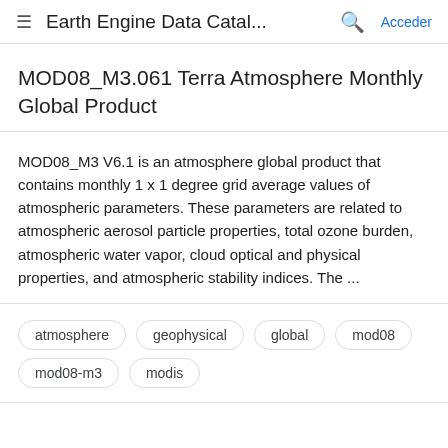Earth Engine Data Catal... Acceder
MOD08_M3.061 Terra Atmosphere Monthly Global Product
MOD08_M3 V6.1 is an atmosphere global product that contains monthly 1 x 1 degree grid average values of atmospheric parameters. These parameters are related to atmospheric aerosol particle properties, total ozone burden, atmospheric water vapor, cloud optical and physical properties, and atmospheric stability indices. The ...
atmosphere
geophysical
global
mod08
mod08-m3
modis